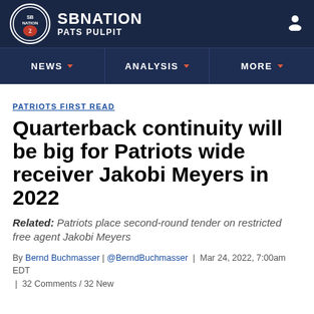SBNATION PATS PULPIT
PATRIOTS FIRST READ
Quarterback continuity will be big for Patriots wide receiver Jakobi Meyers in 2022
Related: Patriots place second-round tender on restricted free agent Jakobi Meyers
By Bernd Buchmasser | @BerndBuchmasser | Mar 24, 2022, 7:00am EDT | 32 Comments / 32 New